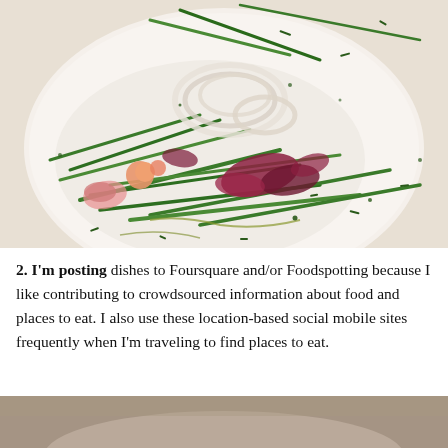[Figure (photo): Close-up photograph of a gourmet salad dish on a white plate, featuring green beans, radicchio, cherry tomatoes, thinly sliced fennel or onion rings, and drizzled with olive oil and chopped chives.]
2. I'm posting dishes to Foursquare and/or Foodspotting because I like contributing to crowdsourced information about food and places to eat. I also use these location-based social mobile sites frequently when I'm traveling to find places to eat.
[Figure (photo): Partial view of another food dish photograph at the bottom of the page, partially cropped.]